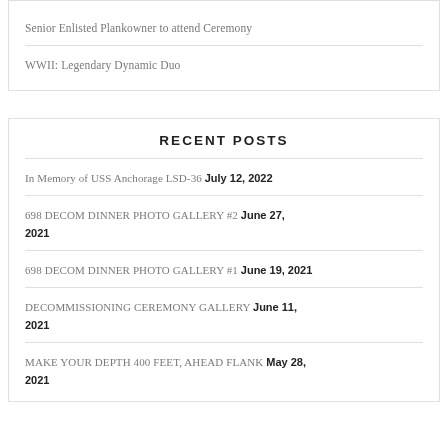Senior Enlisted Plankowner to attend Ceremony
WWII: Legendary Dynamic Duo
RECENT POSTS
In Memory of USS Anchorage LSD-36 July 12, 2022
698 DECOM DINNER PHOTO GALLERY #2 June 27, 2021
698 DECOM DINNER PHOTO GALLERY #1 June 19, 2021
DECOMMISSIONING CEREMONY GALLERY June 11, 2021
MAKE YOUR DEPTH 400 FEET, AHEAD FLANK May 28, 2021